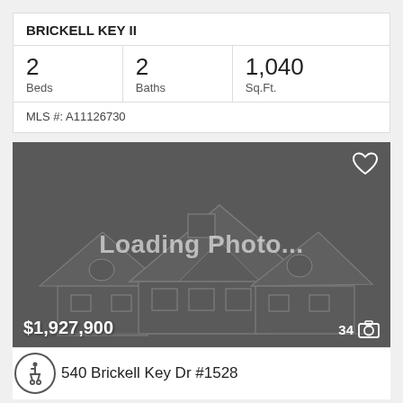BRICKELL KEY II
| Beds | Baths | Sq.Ft. |
| --- | --- | --- |
| 2 | 2 | 1,040 |
MLS #: A11126730
[Figure (photo): Loading Photo placeholder with house outline illustration, price $1,927,900, 34 photos]
540 Brickell Key Dr #1528